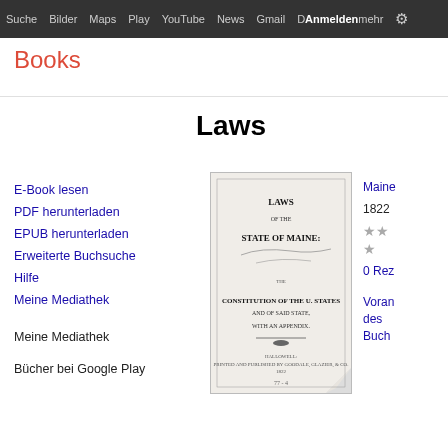Suche  Bilder  Maps  Play  YouTube  News  Gmail  Mehr  Anmelden  ⚙
Books
Laws
E-Book lesen
PDF herunterladen
EPUB herunterladen
Erweiterte Buchsuche
Hilfe
Meine Mediathek
Meine Mediathek
Bücher bei Google Play
[Figure (photo): Scanned title page of 'Laws of the State of Maine' book cover, showing old-style typography with text: LAWS OF THE STATE OF MAINE, CONSTITUTION OF THE U. STATES AND OF SAID STATE, WITH AN APPENDIX, HALLOWELL, 1822]
Maine
1822
0 Rez
Vorankündigung des Buch